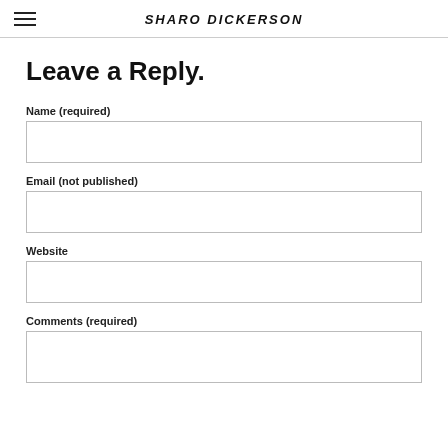SHARO DICKERSON
Leave a Reply.
Name (required)
Email (not published)
Website
Comments (required)